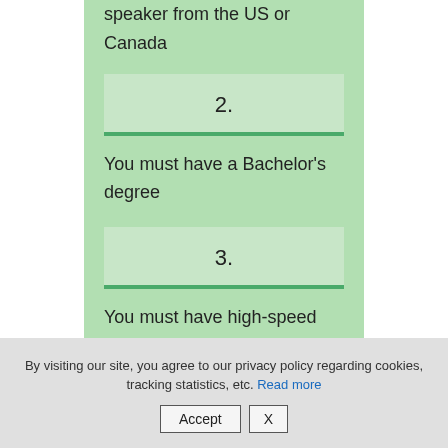speaker from the US or Canada
2.
You must have a Bachelor's degree
3.
You must have high-speed
By visiting our site, you agree to our privacy policy regarding cookies, tracking statistics, etc. Read more
Accept | X